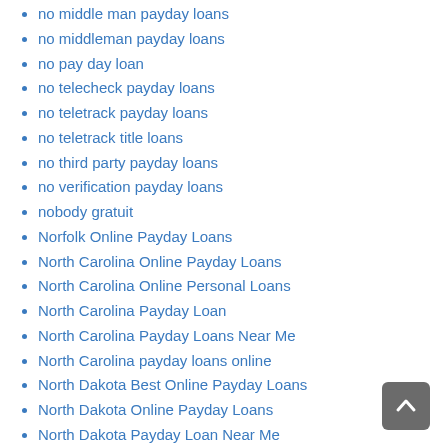no middle man payday loans
no middleman payday loans
no pay day loan
no telecheck payday loans
no teletrack payday loans
no teletrack title loans
no third party payday loans
no verification payday loans
nobody gratuit
Norfolk Online Payday Loans
North Carolina Online Payday Loans
North Carolina Online Personal Loans
North Carolina Payday Loan
North Carolina Payday Loans Near Me
North Carolina payday loans online
North Dakota Best Online Payday Loans
North Dakota Online Payday Loans
North Dakota Payday Loan Near Me
North Dakota Payday Loan Online
North Dakota payday loans
North Dakota Payday Loans Near Me
North Dakota payday loans online